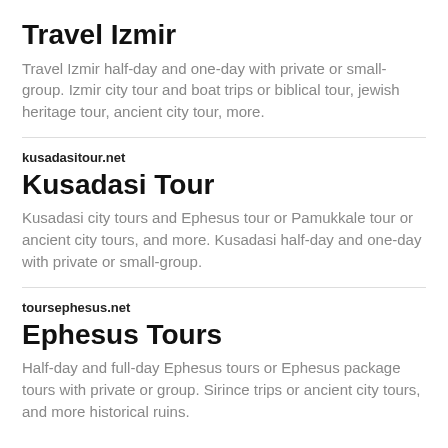Travel Izmir
Travel Izmir half-day and one-day with private or small-group. Izmir city tour and boat trips or biblical tour, jewish heritage tour, ancient city tour, more.
kusadasitour.net
Kusadasi Tour
Kusadasi city tours and Ephesus tour or Pamukkale tour or ancient city tours, and more. Kusadasi half-day and one-day with private or small-group.
toursephesus.net
Ephesus Tours
Half-day and full-day Ephesus tours or Ephesus package tours with private or group. Sirince trips or ancient city tours, and more historical ruins.